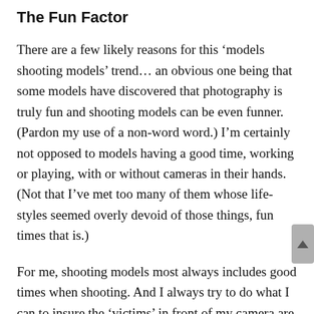The Fun Factor
There are a few likely reasons for this ‘models shooting models’ trend… an obvious one being that some models have discovered that photography is truly fun and shooting models can be even funner. (Pardon my use of a non-word word.) I’m certainly not opposed to models having a good time, working or playing, with or without cameras in their hands. (Not that I’ve met too many of them whose life-styles seemed overly devoid of those things, fun times that is.)
For me, shooting models most always includes good times when shooting. And I always try to do what I can to insure the ‘victims’ in front of my camera are enjoying the experience as well. It’s a factor that often helps to